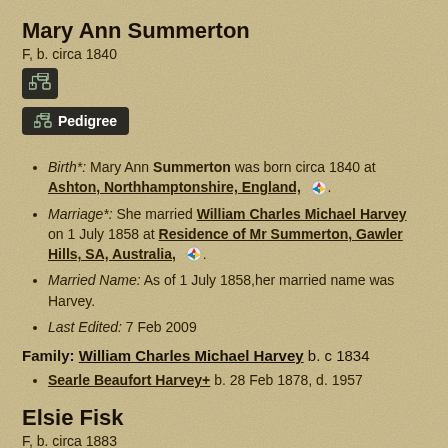Mary Ann Summerton
F, b. circa 1840
[Figure (other): Small dark icon button with tree/pedigree symbol]
[Figure (other): Dark button labeled Pedigree with tree icon]
Birth*: Mary Ann Summerton was born circa 1840 at Ashton, Northhamptonshire, England,
Marriage*: She married William Charles Michael Harvey on 1 July 1858 at Residence of Mr Summerton, Gawler Hills, SA, Australia,
Married Name: As of 1 July 1858, her married name was Harvey.
Last Edited: 7 Feb 2009
Family: William Charles Michael Harvey b. c 1834
Searle Beaufort Harvey+ b. 28 Feb 1878, d. 1957
Elsie Fisk
F, b. circa 1883